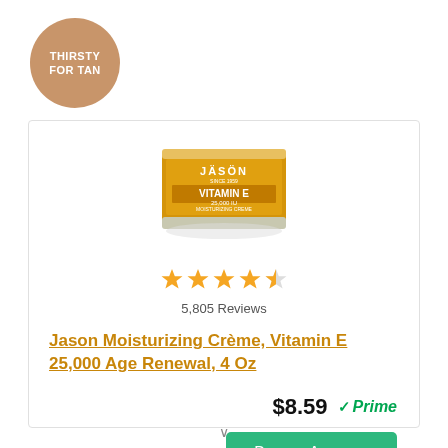[Figure (logo): Circular tan/brown badge with text THIRSTY FOR TAN in white uppercase letters]
[Figure (photo): Jason Vitamin E 25,000 IU Moisturizing Creme Age Renewal product container in gold/yellow packaging]
[Figure (other): 4.5 out of 5 stars rating displayed as gold star icons]
5,805 Reviews
Jason Moisturizing Crème, Vitamin E 25,000 Age Renewal, 4 Oz
$8.59
Prime
Buy on Amazon